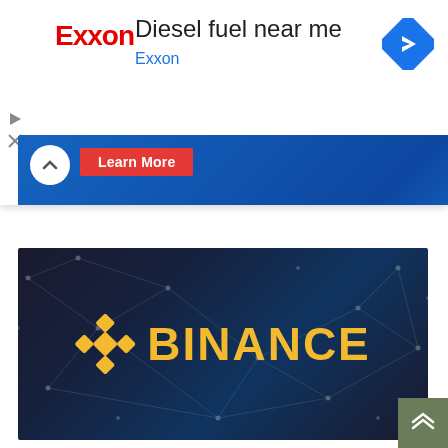[Figure (screenshot): Exxon advertisement banner showing Exxon logo in red, text 'Diesel fuel near me' in black, 'Exxon' in blue, and a blue navigation/directions diamond icon on the right. Ad controls (play and close buttons) on left side. A 'Learn More' red button and chevron up arrow visible below, with a blue world map background image.]
[Figure (logo): Binance promotional banner image on dark background with connected network dots pattern. Binance logo in yellow/gold with diamond shape icon on the left and 'BINANCE' text in bold yellow letters.]